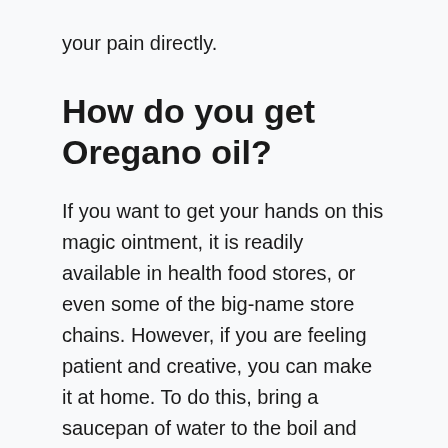your pain directly.
How do you get Oregano oil?
If you want to get your hands on this magic ointment, it is readily available in health food stores, or even some of the big-name store chains. However, if you are feeling patient and creative, you can make it at home. To do this, bring a saucepan of water to the boil and then take it off the stove, adding a sealed jar of olive or almond oil, grape seed and chopped oregano leaves to the water for around 5-10 minutes. Remove the jar and place it in the sunlight, leaving it there for about two weeks, this is your oregano oil.